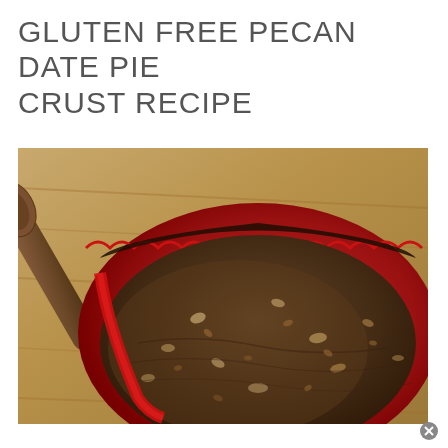GLUTEN FREE PECAN DATE PIE CRUST RECIPE
[Figure (photo): A red ceramic pie dish filled with a pressed pecan and date crust, with a wooden spoon resting beside it on a wooden surface. The crust is dark brown and nutty-textured, pressed up the scalloped edges of the dish.]